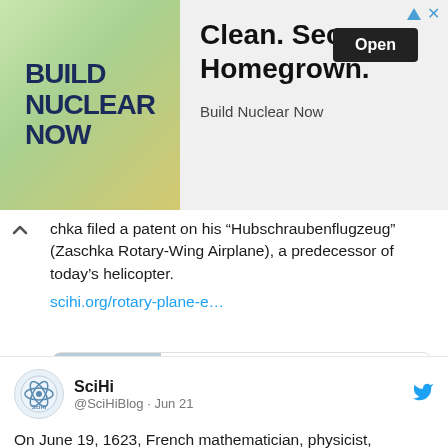[Figure (screenshot): Advertisement banner for Build Nuclear Now. Left side has green/yellow gradient background with bold dark blue text 'BUILD NUCLEAR NOW'. Right side shows 'Clean. Secure. Homegrown.' headline with an 'Open' button and 'Build Nuclear Now' brand text.]
chka filed a patent on his “Hubschraubenflugzeug” (Zaschka Rotary-Wing Airplane), a predecessor of today’s helicopter.
scihi.org/rotary-plane-e…
[Figure (screenshot): Link preview card showing scihi.org with a photo of a man (Engelbert Zaschka) and title 'The Rotary Plane of Engelbert Zaschka ...']
SciHi @SciHiBlog · Jun 21
On June 19, 1623, French mathematician, physicist, inventor,